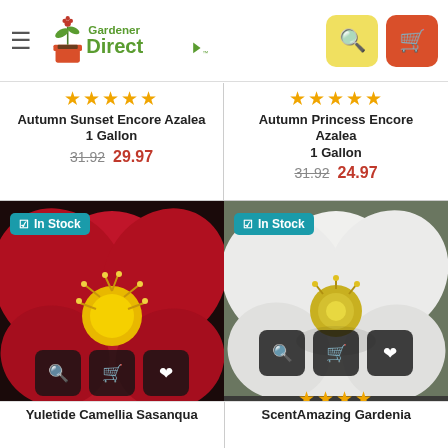[Figure (screenshot): Gardener Direct website header with logo, hamburger menu, search button, and cart button]
★★★★★
Autumn Sunset Encore Azalea
1 Gallon
31.92  29.97
★★★★★
Autumn Princess Encore Azalea
1 Gallon
31.92  24.97
[Figure (photo): Red camellia flower close-up with yellow stamens, In Stock badge, action buttons]
[Figure (photo): White gardenia flower close-up with yellow center, In Stock badge, action buttons, 4 stars]
Yuletide Camellia Sasanqua
ScentAmazing Gardenia